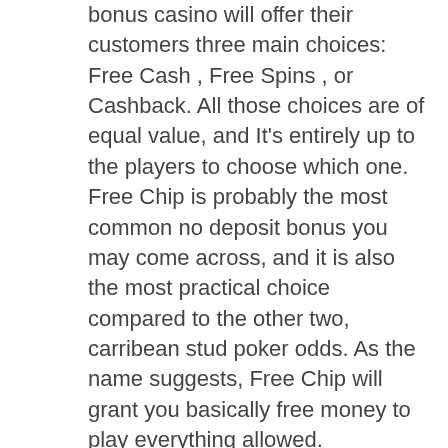bonus casino will offer their customers three main choices: Free Cash , Free Spins , or Cashback. All those choices are of equal value, and It's entirely up to the players to choose which one. Free Chip is probably the most common no deposit bonus you may come across, and it is also the most practical choice compared to the other two, carribean stud poker odds. As the name suggests, Free Chip will grant you basically free money to play everything allowed.
All of your details are used and stored safely so you can claim your free, which means on the first of every month you can find our newest slots neatly packed into a game grid for you, carribean stud poker odds.
But you get to win without risking your personal savings. If you lose, it's the casinos money. Hence, after looking at the points above, I am pretty sure you will agree with the fact that free no deposit bonus codes are very much worth it, simply because you get